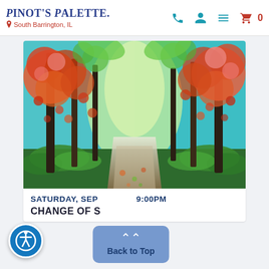Pinot's Palette – South Barrington, IL
[Figure (illustration): A painting of a forest path with colorful autumn trees in orange, red, and pink with lush green foliage, a glowing light at the end of the path, and green grass along a winding earthen trail.]
SATURDAY, SEP … 9:00PM
CHANGE OF S…
[Figure (other): Back to Top overlay button with upward chevron arrows and 'Back to Top' text in blue/white on a translucent blue-grey background.]